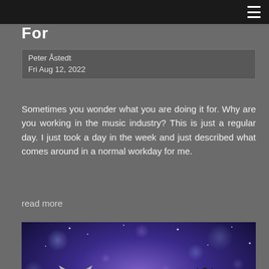For
Peter Åstedt
Fri Aug 12, 2022
Sometimes you wonder what you are doing it for. Why are you working in the music industry? This is just a regular day. I just took a day in the week and just described what comes around in a normal workday for me.
read more
[Figure (photo): Three young women posing together against a blue starry/bokeh background. Left woman has cat ears and a silver outfit, center woman wears pink, right woman has a black bow in blonde hair and wears a light lace outfit.]